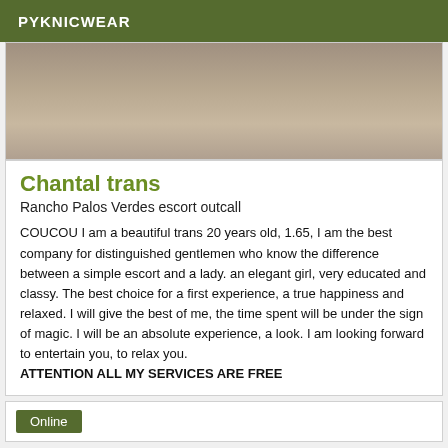PYKNICWEAR
[Figure (photo): Close-up photo, partially cropped]
Chantal trans
Rancho Palos Verdes escort outcall
COUCOU I am a beautiful trans 20 years old, 1.65, I am the best company for distinguished gentlemen who know the difference between a simple escort and a lady. an elegant girl, very educated and classy. The best choice for a first experience, a true happiness and relaxed. I will give the best of me, the time spent will be under the sign of magic. I will be an absolute experience, a look. I am looking forward to entertain you, to relax you. ATTENTION ALL MY SERVICES ARE FREE
Online